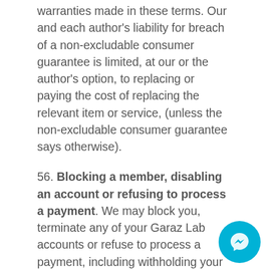warranties made in these terms. Our and each author's liability for breach of a non-excludable consumer guarantee is limited, at our or the author's option, to replacing or paying the cost of replacing the relevant item or service, (unless the non-excludable consumer guarantee says otherwise).
56. Blocking a member, disabling an account or refusing to process a payment. We may block you, terminate any of your Garaz Lab accounts or refuse to process a payment, including withholding your account balance indefinitely, if we reasonably believe there is a risk associated with you, your Garaz Lab account, or that payment, including if it breaches a law or regulation. Examples of where we might do this include transactions where we suspect the payment is from or to a person or